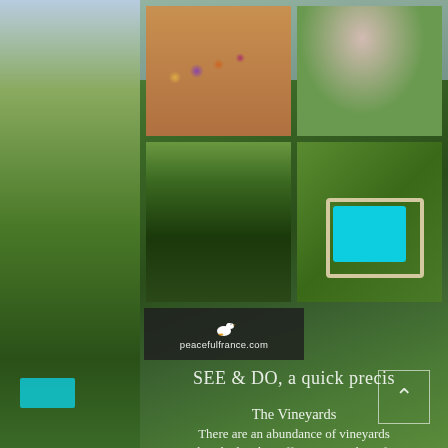[Figure (photo): Photo grid with four property photos: interior with colorful hanging ornaments, blurred floral/pink exterior, tree-lined driveway, aerial view of swimming pool on green lawn]
[Figure (logo): peacefulfrance.com logo on dark background with white duck icon]
SEE & DO, a quick precis
The Vineyards
There are an abundance of vineyards within the locality offering everything from